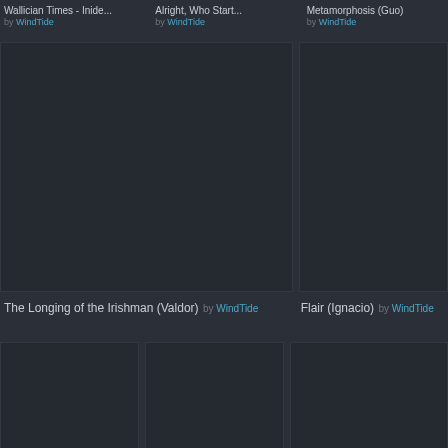Wallician Times - Inide... by WindTide
Alright, Who Start... by WindTide
Metamorphosis (Guo) by WindTide
[Figure (illustration): Large dark thumbnail image placeholder, left column]
[Figure (illustration): Large dark thumbnail image placeholder, right column]
The Longing of the Irishman (Valdor) by WindTide
Flair (Ignacio) by WindTide
[Figure (illustration): Small dark thumbnail image placeholder, bottom left]
[Figure (illustration): Small dark thumbnail image placeholder, bottom center]
[Figure (illustration): Small dark thumbnail image placeholder, bottom right]